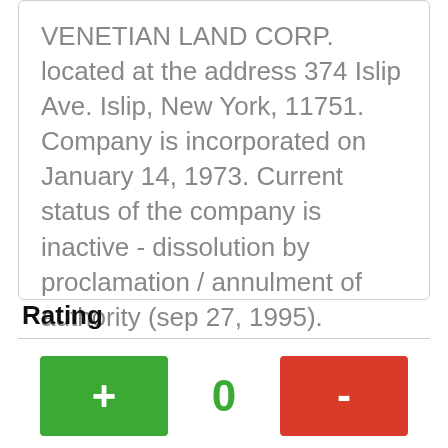VENETIAN LAND CORP. located at the address 374 Islip Ave. Islip, New York, 11751. Company is incorporated on January 14, 1973. Current status of the company is inactive - dissolution by proclamation / annulment of authority (sep 27, 1995).
Rating